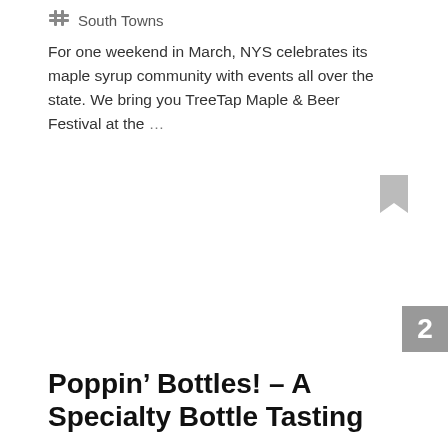South Towns
For one weekend in March, NYS celebrates its maple syrup community with events all over the state. We bring you TreeTap Maple & Beer Festival at the …
[Figure (other): Bookmark icon (grey ribbon/bookmark shape)]
2
Poppin’ Bottles! – A Specialty Bottle Tasting